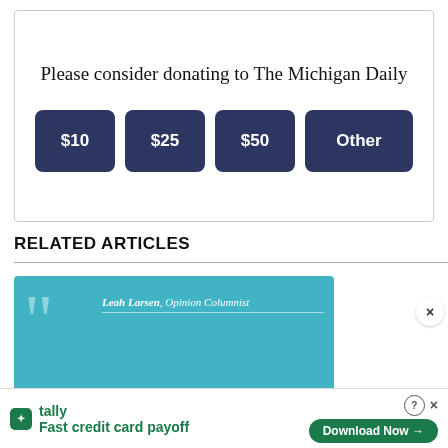Please consider donating to The Michigan Daily
[Figure (other): Donation button widget with four buttons: $10, $25, $50, Other]
RELATED ARTICLES
[Figure (photo): Teal article card with large quotation marks, author credit 'Leah Larsen, Opinion Columnist', and excerpt text 'DTE's effort to achieve zero emissions is admirable on paper']
[Figure (other): Advertisement bar: tally logo, 'Fast credit card payoff', Download Now button]